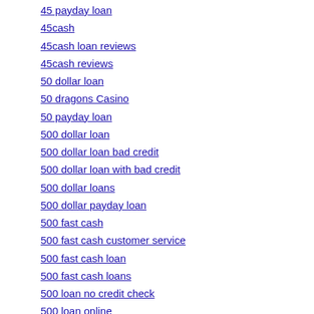45 payday loan
45cash
45cash loan reviews
45cash reviews
50 dollar loan
50 dragons Casino
50 payday loan
500 dollar loan
500 dollar loan bad credit
500 dollar loan with bad credit
500 dollar loans
500 dollar payday loan
500 fast cash
500 fast cash customer service
500 fast cash loan
500 fast cash loans
500 loan no credit check
500 loan online
500 loans no credit check